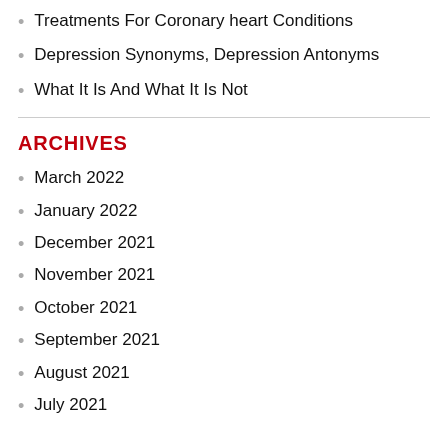Treatments For Coronary heart Conditions
Depression Synonyms, Depression Antonyms
What It Is And What It Is Not
ARCHIVES
March 2022
January 2022
December 2021
November 2021
October 2021
September 2021
August 2021
July 2021